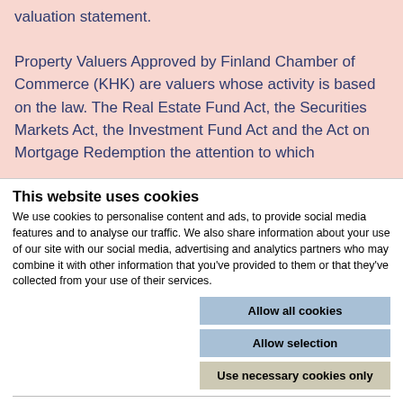valuation statement. Property Valuers Approved by Finland Chamber of Commerce (KHK) are valuers whose activity is based on the law. The Real Estate Fund Act, the Securities Markets Act, the Investment Fund Act and the Act on Mortgage...
This website uses cookies
We use cookies to personalise content and ads, to provide social media features and to analyse our traffic. We also share information about your use of our site with our social media, advertising and analytics partners who may combine it with other information that you've provided to them or that they've collected from your use of their services.
Allow all cookies
Allow selection
Use necessary cookies only
Necessary  Preferences  Statistics  Marketing  Show details